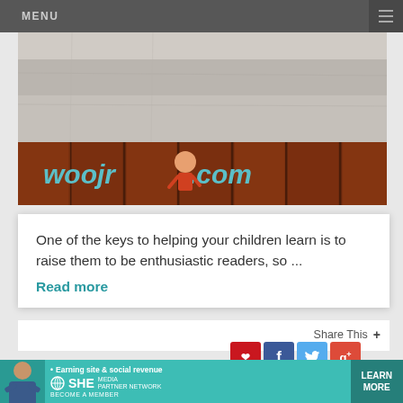MENU
[Figure (screenshot): woojr.com website header with stone background on top and wood panel background on bottom, showing the woojr.com logo in teal italic font with a cartoon child figure]
One of the keys to helping your children learn is to raise them to be enthusiastic readers, so ...
Read more
Share This +
[Figure (infographic): Social sharing buttons: Pinterest (red), Facebook (blue), Twitter (light blue), Google+ (red)]
[Figure (infographic): SHE Media Partner Network advertisement banner with teal background, text: Earning site & social revenue, LEARN MORE button]